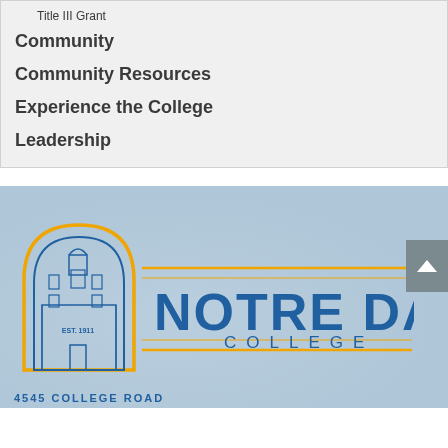Title III Grant
Community
Community Resources
Experience the College
Leadership
[Figure (logo): Notre Dame College logo with blue arch building illustration and text 'NOTRE DAME COLLEGE' in blue and gold, EST. 1911]